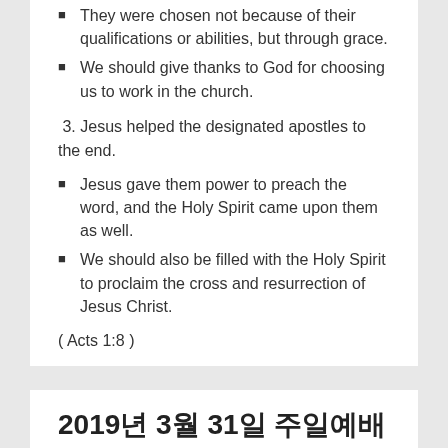They were chosen not because of their qualifications or abilities, but through grace.
We should give thanks to God for choosing us to work in the church.
3. Jesus helped the designated apostles to the end.
Jesus gave them power to preach the word, and the Holy Spirit came upon them as well.
We should also be filled with the Holy Spirit to proclaim the cross and resurrection of Jesus Christ.
( Acts 1:8 )
2019년 3월 31일 주일예배
2019-04-08   GEELONGKBAPTIST
Michaela   Brian Christie